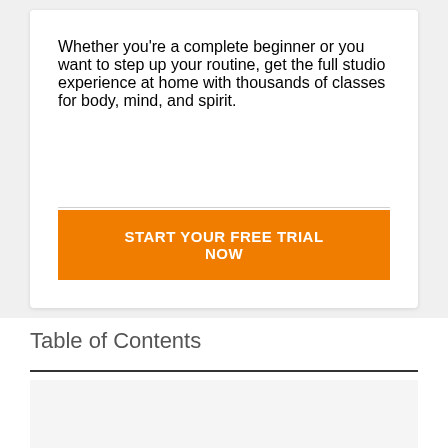Whether you're a complete beginner or you want to step up your routine, get the full studio experience at home with thousands of classes for body, mind, and spirit.
START YOUR FREE TRIAL NOW
Table of Contents